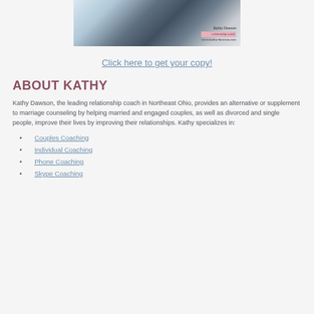[Figure (photo): A photo of a couple in winter, holding a snowball, outdoors in snow with trees in background. There is a name/contact overlay in the lower right corner.]
Click here to get your copy!
ABOUT KATHY
Kathy Dawson, the leading relationship coach in Northeast Ohio, provides an alternative or supplement to marriage counseling by helping married and engaged couples, as well as divorced and single people, improve their lives by improving their relationships. Kathy specializes in:
Couples Coaching
Individual Coaching
Phone Coaching
Skype Coaching